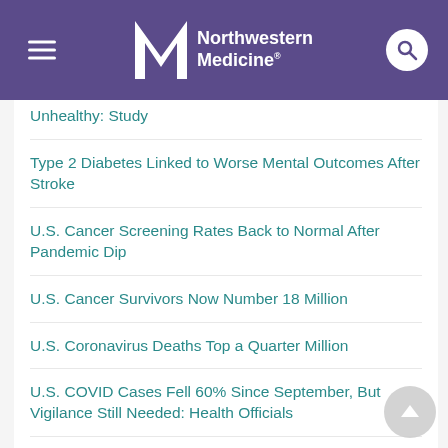Northwestern Medicine
Unhealthy: Study
Type 2 Diabetes Linked to Worse Mental Outcomes After Stroke
U.S. Cancer Screening Rates Back to Normal After Pandemic Dip
U.S. Cancer Survivors Now Number 18 Million
U.S. Coronavirus Deaths Top a Quarter Million
U.S. COVID Cases Fell 60% Since September, But Vigilance Still Needed: Health Officials
U.S. COVID-19 Death Toll Passes 800,000
U.S. Deaths From Cancer Continue to Decline
U.S. Hispanics at High Heart Disease Risk and Many Go Untreated: Report